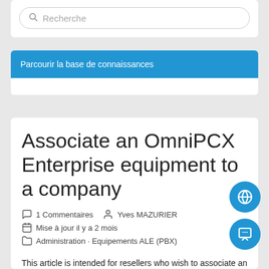Recherche
Parcourir la base de connaissances
Associate an OmniPCX Enterprise equipment to a company
1 Commentaires   Yves MAZURIER
Mise à jour il y a 2 mois
Administration · Equipements ALE (PBX)
This article is intended for resellers who wish to associate an OmniPCX Enterprise equipment to a customer